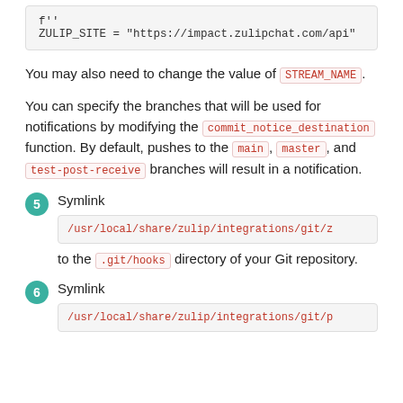[Figure (other): Code block showing: f''
ZULIP_SITE = "https://impact.zulipchat.com/api"]
You may also need to change the value of STREAM_NAME.
You can specify the branches that will be used for notifications by modifying the commit_notice_destination function. By default, pushes to the main, master, and test-post-receive branches will result in a notification.
5. Symlink /usr/local/share/zulip/integrations/git/z to the .git/hooks directory of your Git repository.
6. Symlink /usr/local/share/zulip/integrations/git/p ...